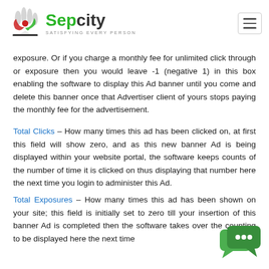Sepcity – Satisfying Every Person
exposure. Or if you charge a monthly fee for unlimited click through or exposure then you would leave -1 (negative 1) in this box enabling the software to display this Ad banner until you come and delete this banner once that Advertiser client of yours stops paying the monthly fee for the advertisement.
Total Clicks – How many times this ad has been clicked on, at first this field will show zero, and as this new banner Ad is being displayed within your website portal, the software keeps counts of the number of time it is clicked on thus displaying that number here the next time you login to administer this Ad.
Total Exposures – How many times this ad has been shown on your site; this field is initially set to zero till your insertion of this banner Ad is completed then the software takes over the counting to be displayed here the next time